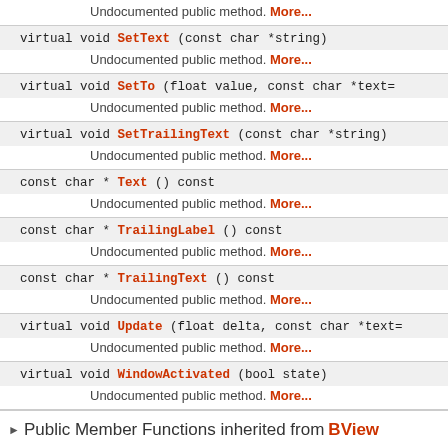| Undocumented public method. More... |
| virtual void SetText (const char *string) | Undocumented public method. More... |
| virtual void SetTo (float value, const char *text= | Undocumented public method. More... |
| virtual void SetTrailingText (const char *string) | Undocumented public method. More... |
| const char * Text () const | Undocumented public method. More... |
| const char * TrailingLabel () const | Undocumented public method. More... |
| const char * TrailingText () const | Undocumented public method. More... |
| virtual void Update (float delta, const char *text= | Undocumented public method. More... |
| virtual void WindowActivated (bool state) | Undocumented public method. More... |
Public Member Functions inherited from BView